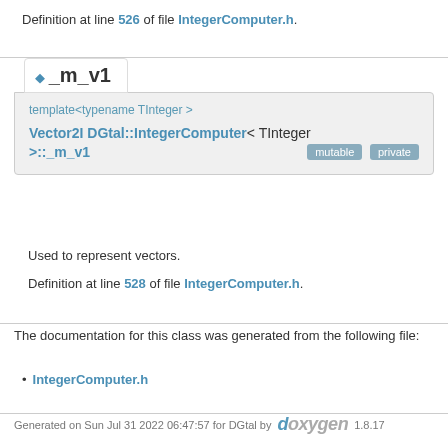Definition at line 526 of file IntegerComputer.h.
◆ _m_v1
template<typename TInteger >
Vector2I DGtal::IntegerComputer< TInteger >::_m_v1
mutable private
Used to represent vectors.
Definition at line 528 of file IntegerComputer.h.
The documentation for this class was generated from the following file:
IntegerComputer.h
Generated on Sun Jul 31 2022 06:47:57 for DGtal by doxygen 1.8.17